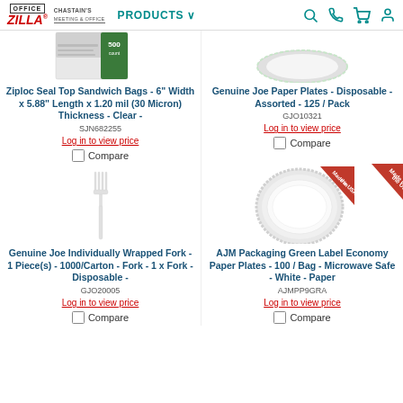Office Zilla / Chastain's - PRODUCTS
[Figure (photo): Partial product image - Ziploc sandwich bags box (top cropped)]
Ziploc Seal Top Sandwich Bags - 6" Width x 5.88" Length x 1.20 mil (30 Micron) Thickness - Clear -
SJN682255
Log in to view price
Compare
[Figure (photo): Partial product image - Genuine Joe Paper Plates (top cropped)]
Genuine Joe Paper Plates - Disposable - Assorted - 125 / Pack
GJO10321
Log in to view price
Compare
[Figure (photo): White plastic fork on white background]
Genuine Joe Individually Wrapped Fork - 1 Piece(s) - 1000/Carton - Fork - 1 x Fork - Disposable -
GJO20005
Log in to view price
Compare
[Figure (photo): White paper plate with 'Made in the USA' corner badge]
AJM Packaging Green Label Economy Paper Plates - 100 / Bag - Microwave Safe - White - Paper
AJMPP9GRA
Log in to view price
Compare